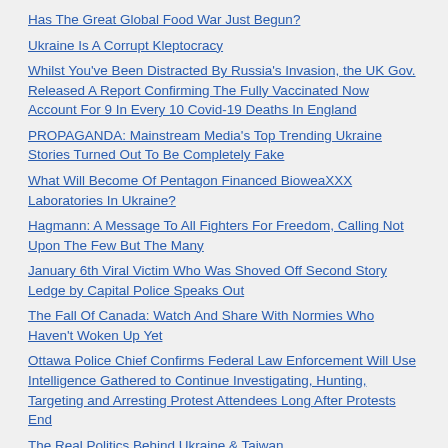Has The Great Global Food War Just Begun?
Ukraine Is A Corrupt Kleptocracy
Whilst You've Been Distracted By Russia's Invasion, the UK Gov. Released A Report Confirming The Fully Vaccinated Now Account For 9 In Every 10 Covid-19 Deaths In England
PROPAGANDA: Mainstream Media's Top Trending Ukraine Stories Turned Out To Be Completely Fake
What Will Become Of Pentagon Financed BioweaXXX Laboratories In Ukraine?
Hagmann: A Message To All Fighters For Freedom, Calling Not Upon The Few But The Many
January 6th Viral Victim Who Was Shoved Off Second Story Ledge by Capital Police Speaks Out
The Fall Of Canada: Watch And Share With Normies Who Haven't Woken Up Yet
Ottawa Police Chief Confirms Federal Law Enforcement Will Use Intelligence Gathered to Continue Investigating, Hunting, Targeting and Arresting Protest Attendees Long After Protests End
The Real Politics Behind Ukraine & Taiwan